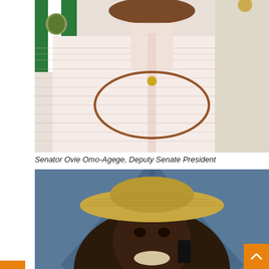[Figure (photo): Official portrait photo of Senator Ovie Omo-Agege, Deputy Senate President, wearing a striped white agbada with a brown coral bead necklace, with the Nigerian coat of arms flag visible in the background]
Senator Ovie Omo-Agege, Deputy Senate President
[Figure (photo): Photo of a smiling man wearing a straw hat and talking on a mobile phone, photographed against a blue background]